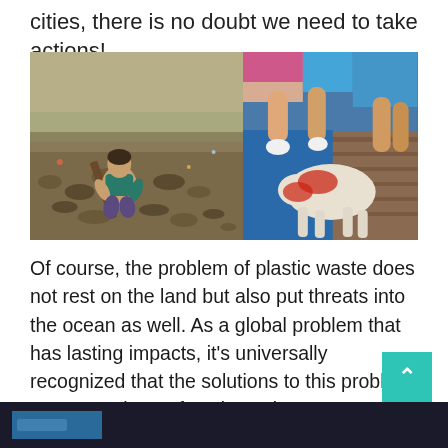cities, there is no doubt we need to take actions!
[Figure (photo): Two photos side by side: left shows a person crouching on a large garbage-covered beach/shore with rubble and waste; right shows people handling/slaughtering an animal on a blue surface.]
Of course, the problem of plastic waste does not rest on the land but also put threats into the ocean as well. As a global problem that has lasting impacts, it’s universally recognized that the solutions to this problem are: reuse it or refuse it. During M4TP event, there are also several teams dedicating in tackling this challenge.